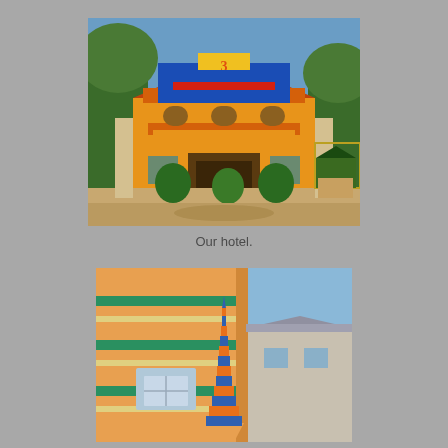[Figure (photo): Front facade of a colorful orange Southeast Asian hotel building with a large blue and yellow sign, ornate balcony, manicured topiary bushes, and decorative iron gates on either side. Trees visible in the background.]
Our hotel.
[Figure (photo): Close-up view of the corner of an orange multi-story building with teal/green decorative trim bands, a window visible, and a tall ornate tower/spire with alternating blue and orange checkered pattern rising in the center. Blue sky in background.]